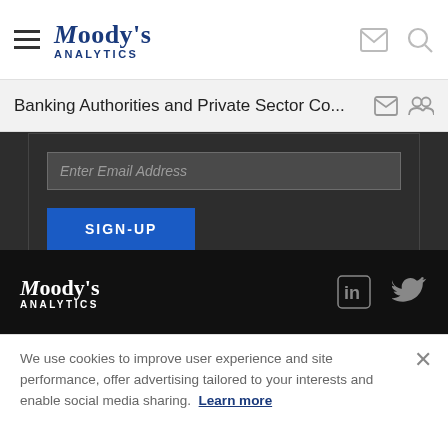Moody's Analytics
Banking Authorities and Private Sector Co...
Enter Email Address
SIGN-UP
Already subscribed? Click here to manage your preferences.
[Figure (logo): Moody's Analytics logo in white on dark footer]
We use cookies to improve user experience and site performance, offer advertising tailored to your interests and enable social media sharing. Learn more